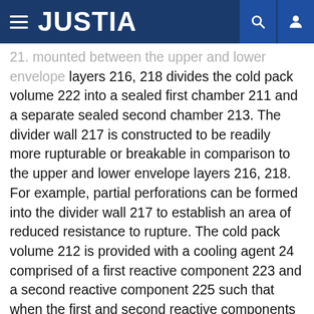JUSTIA
21. mounted between the upper and lower envelope layers 216, 218 divides the cold pack volume 222 into a sealed first chamber 211 and a separate sealed second chamber 213. The divider wall 217 is constructed to be readily more rupturable or breakable in comparison to the upper and lower envelope layers 216, 218. For example, partial perforations can be formed into the divider wall 217 to establish an area of reduced resistance to rupture. The cold pack volume 212 is provided with a cooling agent 24 comprised of a first reactive component 223 and a second reactive component 225 such that when the first and second reactive components 223, 225 are combined, they undergo an endothermic reaction to provide a cooling effect. The divider wall 217 maintains the first and second reactive components 223, 225 in the separate sealed first and second chambers 211, 213 until the self-